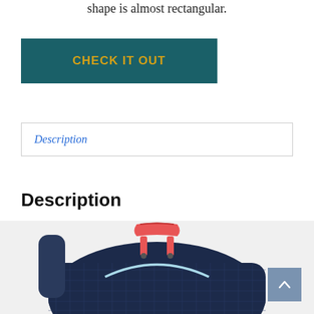It looks like traditional backpacks, and the shape is almost rectangular.
CHECK IT OUT
Description
Description
[Figure (photo): A navy blue mesh backpack with a red handle and light blue zipper, shown from the top-front angle.]